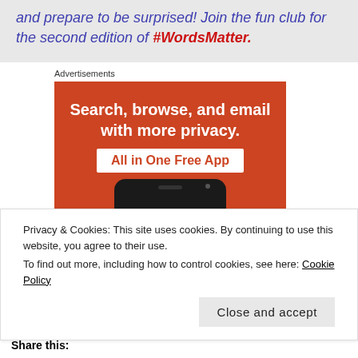and prepare to be surprised! Join the fun club for the second edition of #WordsMatter.
Advertisements
[Figure (infographic): Orange advertisement banner reading 'Search, browse, and email with more privacy. All in One Free App' with a phone graphic at the bottom.]
Privacy & Cookies: This site uses cookies. By continuing to use this website, you agree to their use.
To find out more, including how to control cookies, see here: Cookie Policy
Close and accept
Share this: